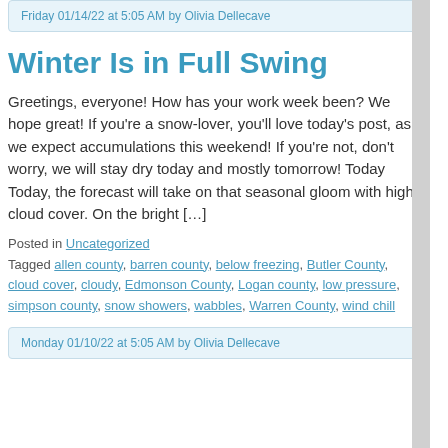Friday 01/14/22 at 5:05 AM by Olivia Dellecave
Winter Is in Full Swing
Greetings, everyone! How has your work week been? We hope great! If you're a snow-lover, you'll love today's post, as we expect accumulations this weekend! If you're not, don't worry, we will stay dry today and mostly tomorrow! Today Today, the forecast will take on that seasonal gloom with high cloud cover. On the bright […]
Posted in Uncategorized
Tagged allen county, barren county, below freezing, Butler County, cloud cover, cloudy, Edmonson County, Logan county, low pressure, simpson county, snow showers, wabbles, Warren County, wind chill
Monday 01/10/22 at 5:05 AM by Olivia Dellecave